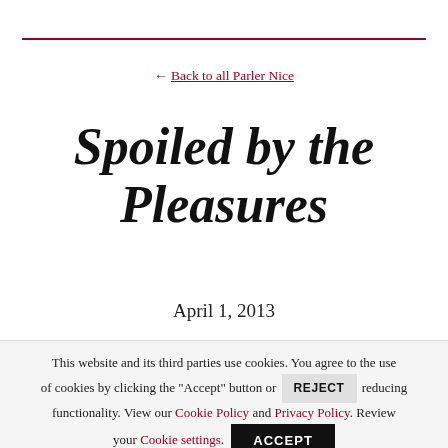← Back to all Parler Nice
Spoiled by the Pleasures
April 1, 2013
This website and its third parties use cookies. You agree to the use of cookies by clicking the "Accept" button or REJECT reducing functionality. View our Cookie Policy and Privacy Policy. Review your Cookie settings. ACCEPT